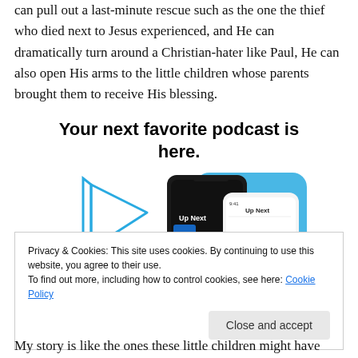can pull out a last-minute rescue such as the one the thief who died next to Jesus experienced, and He can dramatically turn around a Christian-hater like Paul, He can also open His arms to the little children whose parents brought them to receive His blessing.
[Figure (infographic): Apple Podcasts advertisement with text 'Your next favorite podcast is here.' and an illustration of iPhone screens showing the Podcasts app with 'Up Next' queue interface, along with a play button graphic and blue background shapes.]
Privacy & Cookies: This site uses cookies. By continuing to use this website, you agree to their use.
To find out more, including how to control cookies, see here: Cookie Policy
My story is like the ones these little children might have